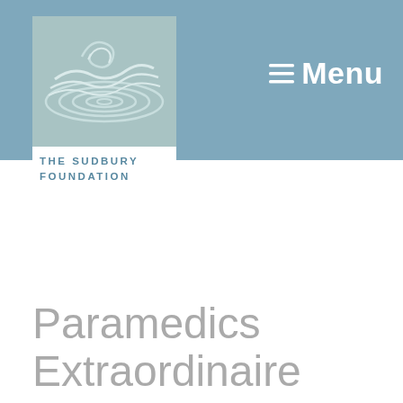[Figure (logo): The Sudbury Foundation logo with rippling water graphic and text 'THE SUDBURY FOUNDATION' below]
≡ Menu
Paramedics Extraordinaire